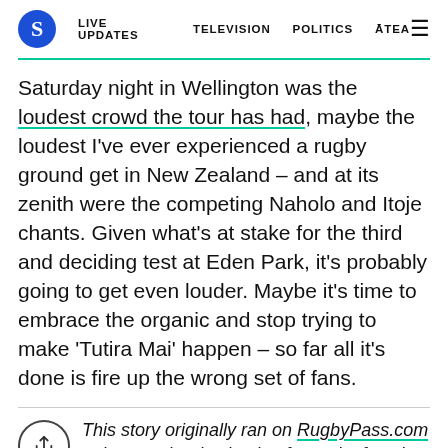S | LIVE UPDATES | TELEVISION | POLITICS | ĀTEA | ≡
Saturday night in Wellington was the loudest crowd the tour has had, maybe the loudest I've ever experienced a rugby ground get in New Zealand – and at its zenith were the competing Naholo and Itoje chants. Given what's at stake for the third and deciding test at Eden Park, it's probably going to get even louder. Maybe it's time to embrace the organic and stop trying to make 'Tutira Mai' happen – so far all it's done is fire up the wrong set of fans.
This story originally ran on RugbyPass.com – the premier destination for rugby fans in Asia